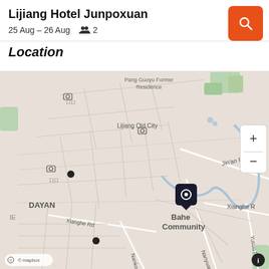Lijiang Hotel Junpoxuan
25 Aug – 26 Aug   👥 2
Location
[Figure (map): Map showing Lijiang Old City area with hotel pin marker near Bahe Community. Streets labeled include Jin'an Rd, Xianghe Rd, Nankou Rd, Nanyuan Rd, Yusuo Rd. Landmarks: Pang Guoyu Former Residence, Lijiang Old City, DAYAN, Bahe Community. Mapbox attribution shown at bottom left.]